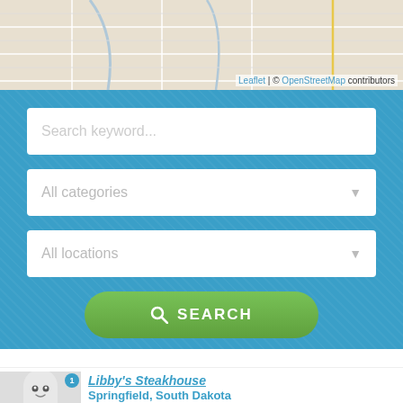[Figure (map): Street map background showing roads and terrain near Royal, Nebraska area with OpenStreetMap attribution]
Leaflet | © OpenStreetMap contributors
Search keyword...
All categories
All locations
SEARCH
HAUNTED PLACES IN ROYAL, NEBRASKA
[Figure (illustration): Ghost mascot icon - white cartoon ghost with smile]
Libby's Steakhouse
Springfield, South Dakota